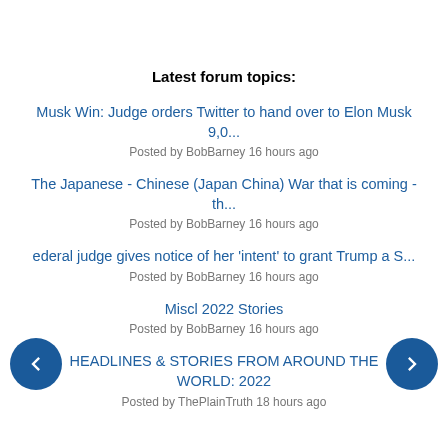Latest forum topics:
Musk Win: Judge orders Twitter to hand over to Elon Musk 9,0...
Posted by BobBarney 16 hours ago
The Japanese - Chinese (Japan China) War that is coming - th...
Posted by BobBarney 16 hours ago
ederal judge gives notice of her 'intent' to grant Trump a S...
Posted by BobBarney 16 hours ago
Miscl 2022 Stories
Posted by BobBarney 16 hours ago
HEADLINES & STORIES FROM AROUND THE WORLD: 2022
Posted by ThePlainTruth 18 hours ago